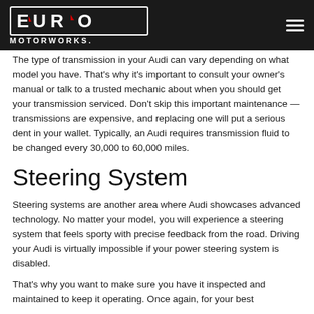Euro Motorworks
The type of transmission in your Audi can vary depending on what model you have. That’s why it’s important to consult your owner’s manual or talk to a trusted mechanic about when you should get your transmission serviced. Don’t skip this important maintenance — transmissions are expensive, and replacing one will put a serious dent in your wallet. Typically, an Audi requires transmission fluid to be changed every 30,000 to 60,000 miles.
Steering System
Steering systems are another area where Audi showcases advanced technology. No matter your model, you will experience a steering system that feels sporty with precise feedback from the road. Driving your Audi is virtually impossible if your power steering system is disabled.
That’s why you want to make sure you have it inspected and maintained to keep it operating. Once again, for your best